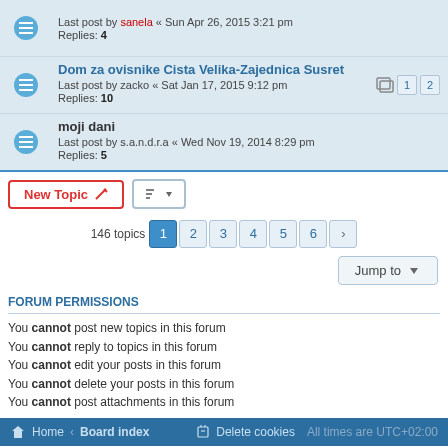Last post by sanela « Sun Apr 26, 2015 3:21 pm
Replies: 4
Dom za ovisnike Cista Velika-Zajednica Susret
Last post by zacko « Sat Jan 17, 2015 9:12 pm
Replies: 10
moji dani
Last post by s.a.n.d.r.a « Wed Nov 19, 2014 8:29 pm
Replies: 5
146 topics  1 2 3 4 5 6 >
Jump to
FORUM PERMISSIONS
You cannot post new topics in this forum
You cannot reply to topics in this forum
You cannot edit your posts in this forum
You cannot delete your posts in this forum
You cannot post attachments in this forum
Home · Board index    Delete cookies   All times are UTC+02:00
Powered by phpBB® Forum Software © phpBB Limited
Privacy | Terms